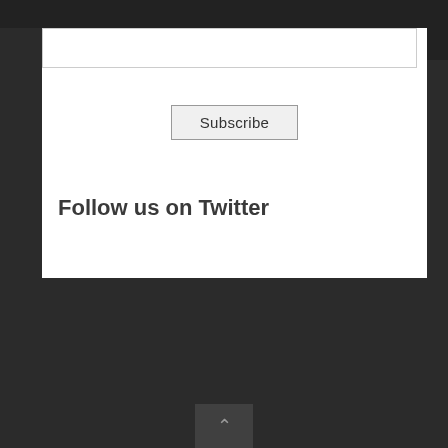Subscribe
Follow us on Twitter